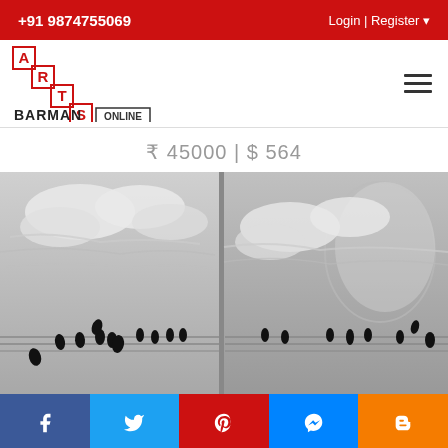+91 9874755069 | Login | Register
[Figure (logo): Arts Barman Online logo with staircase design in red and black]
₹ 45000 | $ 564
[Figure (photo): Diptych artwork showing birds sitting on wires with cloudy sky in charcoal/pencil style, left panel has birds on wires, right panel includes a large moon shape]
Facebook | Twitter | Pinterest | Messenger | Blogger social share buttons